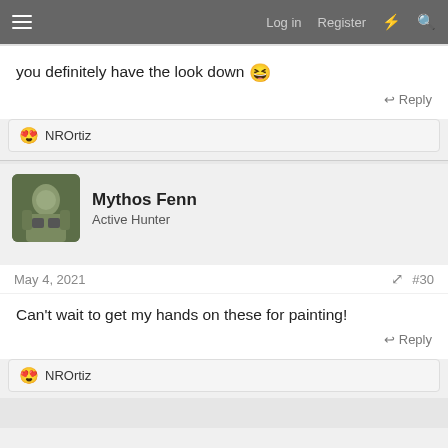Log in  Register
you definitely have the look down 😆
Reply
😍 NROrtiz
Mythos Fenn
Active Hunter
May 4, 2021   #30
Can't wait to get my hands on these for painting!
Reply
😍 NROrtiz